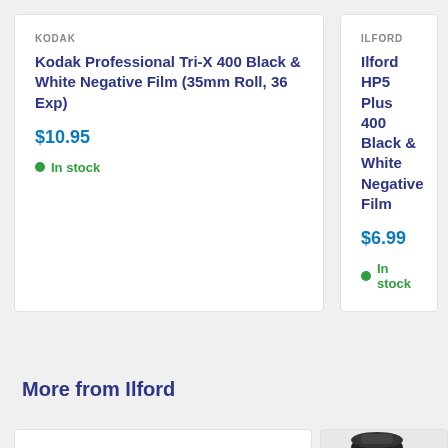KODAK
Kodak Professional Tri-X 400 Black & White Negative Film (35mm Roll, 36 Exp)
$10.95
In stock
ILFORD
Ilford HP5 Plus 400 Black & White Negative Film
$6.99
In stock
More from Ilford
[Figure (photo): Empty white product card placeholder (left)]
[Figure (photo): Ilford Delta 3200 Professional 35mm film canister and box, partially visible, cropped at bottom right]